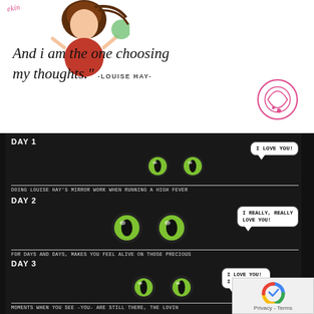[Figure (illustration): Top half: illustrated comic/quote image showing a cartoon girl in red dress with brown hair, with text quote 'And I am the one choosing my thoughts.' - Louise Hay - with decorative doodles and swirls in pink/green]
[Figure (illustration): Bottom half: dark comic strip showing 3 panels (Day 1, Day 2, Day 3) with glowing cat eyes in darkness and speech bubbles. Day 1: 'I LOVE YOU!', Day 2: 'I REALLY, REALLY LOVE YOU!', Day 3: 'I LOVE YOU! I REALLY DO!'. Captions: 'DOING LOUISE HAY'S MIRROR WORK WHEN RUNNING A HIGH FEVER', 'FOR DAYS AND DAYS, MAKES YOU FEEL ALIVE ON THOSE PRECIOUS', 'MOMENTS WHEN YOU SEE -YOU- ARE STILL THERE, THE LOVING'. Watermark: ehiniemi.fi. Privacy - Terms box in bottom right.]